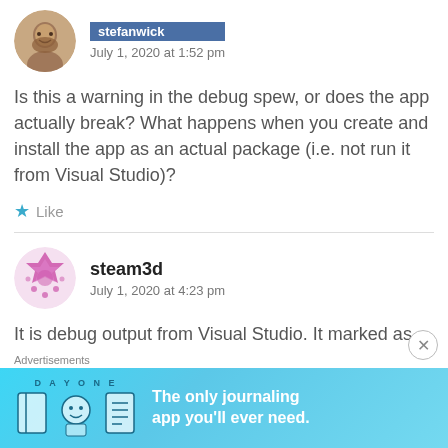stefanwick — July 1, 2020 at 1:52 pm
Is this a warning in the debug spew, or does the app actually break? What happens when you create and install the app as an actual package (i.e. not run it from Visual Studio)?
Like
steam3d — July 1, 2020 at 4:23 pm
It is debug output from Visual Studio. It marked as “Program output”.
Advertisements
[Figure (illustration): Day One journaling app advertisement banner with cyan/blue background showing icons and tagline 'The only journaling app you'll ever need.']